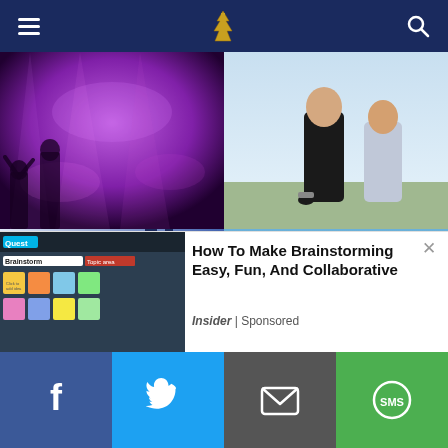Navigation bar with menu, logo, and search
[Figure (photo): Concert scene with purple lighting]
[Figure (photo): Outdoor scene with people in Penn State shirts]
[Figure (photo): Penn State football promotional graphic with text THURSDAY UNTIL PENN STATE FOOTBALL and team mascot]
[Figure (photo): Outdoor festival/fair with crowd and trees]
[Figure (screenshot): Brainstorming app interface preview]
How To Make Brainstorming Easy, Fun, And Collaborative
Insider | Sponsored
Social sharing bar: Facebook, Twitter, Email, SMS